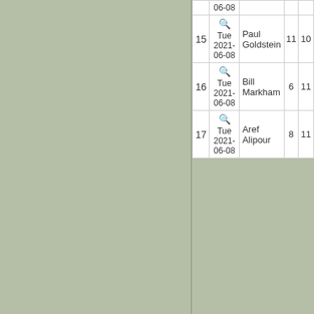| # | Date | Name | Col1 | Col2 |
| --- | --- | --- | --- | --- |
|  | 06-08 |  |  |  |
| 15 | Tue 2021-06-08 | Paul Goldstein | 11 | 10 |
| 16 | Tue 2021-06-08 | Bill Markham | 6 | 11 |
| 17 | Tue 2021-06-08 | Aref Alipour | 8 | 11 |
Search current seas
View results of:
Tuesday 8th June 2021 (17 m
Go